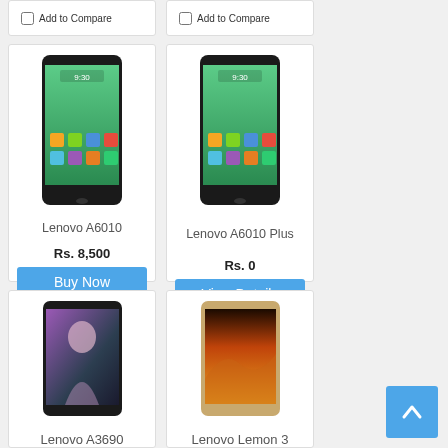[Figure (screenshot): Partial bottom of two product cards with 'Add to Compare' checkboxes at the top of the page]
[Figure (photo): Lenovo A6010 smartphone product card showing phone image, price Rs. 8,500, Buy Now button and Add to Compare checkbox]
[Figure (photo): Lenovo A6010 Plus smartphone product card showing phone image, price Rs. 0, View Details button and Add to Compare checkbox]
[Figure (photo): Lenovo A3690 smartphone product card showing phone image and model name (partially visible)]
[Figure (photo): Lenovo Lemon 3 smartphone product card showing phone image and model name (partially visible)]
[Figure (other): Back to top button (blue chevron/arrow pointing up)]